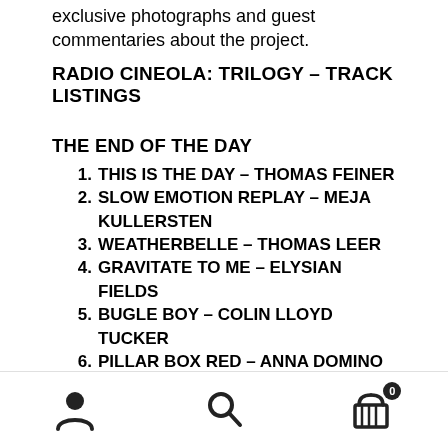exclusive photographs and guest commentaries about the project.
RADIO CINEOLA: TRILOGY – TRACK LISTINGS
THE END OF THE DAY
1. THIS IS THE DAY – THOMAS FEINER
2. SLOW EMOTION REPLAY – MEJA KULLERSTEN
3. WEATHERBELLE – THOMAS LEER
4. GRAVITATE TO ME – ELYSIAN FIELDS
5. BUGLE BOY – COLIN LLOYD TUCKER
6. PILLAR BOX RED – ANNA DOMINO
7. DECEMBER SUNLIGHT – LIZ HORSMAN
8. BLUER THAN MIDNIGHT – CHARLOTTE
navigation icons: user, search, cart (0)